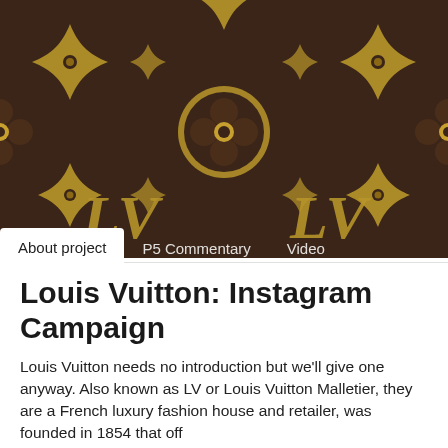[Figure (illustration): Louis Vuitton monogram pattern in dark brown with gold LV logos, four-petal flowers in circles, and four-pointed star/diamond shapes repeated across the header image]
About project	P5 Commentary	Video
Louis Vuitton: Instagram Campaign
Louis Vuitton needs no introduction but we'll give one anyway. Also known as LV or Louis Vuitton Malletier, they are a French luxury fashion house and retailer, was founded in 1854 that off...